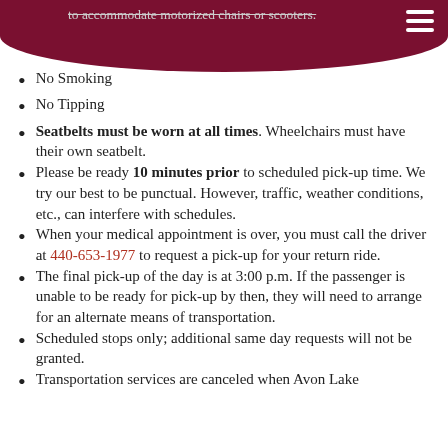to accommodate motorized chairs or scooters.
No Smoking
No Tipping
Seatbelts must be worn at all times. Wheelchairs must have their own seatbelt.
Please be ready 10 minutes prior to scheduled pick-up time. We try our best to be punctual. However, traffic, weather conditions, etc., can interfere with schedules.
When your medical appointment is over, you must call the driver at 440-653-1977 to request a pick-up for your return ride.
The final pick-up of the day is at 3:00 p.m. If the passenger is unable to be ready for pick-up by then, they will need to arrange for an alternate means of transportation.
Scheduled stops only; additional same day requests will not be granted.
Transportation services are canceled when Avon Lake